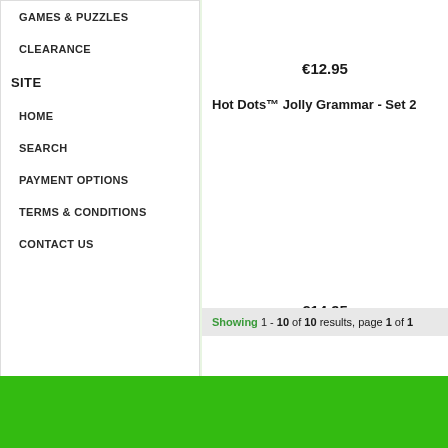GAMES & PUZZLES
CLEARANCE
SITE
HOME
SEARCH
PAYMENT OPTIONS
TERMS & CONDITIONS
CONTACT US
€12.95
Hot Dots™ Jolly Grammar - Set 2
€14.95
Showing 1 - 10 of 10 results, page 1 of 1